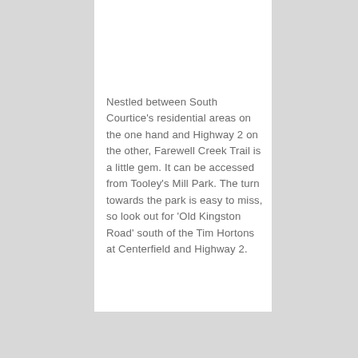Nestled between South Courtice's residential areas on the one hand and Highway 2 on the other, Farewell Creek Trail is a little gem. It can be accessed from Tooley's Mill Park. The turn towards the park is easy to miss, so look out for 'Old Kingston Road' south of the Tim Hortons at Centerfield and Highway 2.